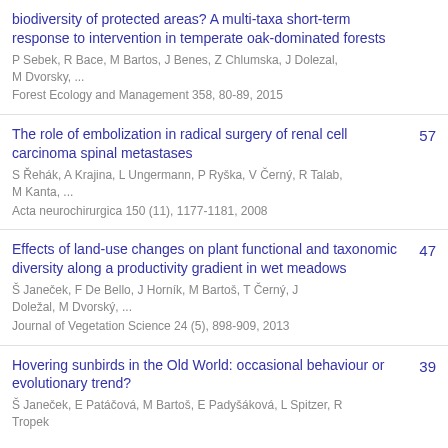biodiversity of protected areas? A multi-taxa short-term response to intervention in temperate oak-dominated forests
P Sebek, R Bace, M Bartos, J Benes, Z Chlumska, J Dolezal, M Dvorsky, ...
Forest Ecology and Management 358, 80-89, 2015
The role of embolization in radical surgery of renal cell carcinoma spinal metastases
S Řehák, A Krajina, L Ungermann, P Ryška, V Černý, R Talab, M Kanta, ...
Acta neurochirurgica 150 (11), 1177-1181, 2008
57
Effects of land-use changes on plant functional and taxonomic diversity along a productivity gradient in wet meadows
Š Janeček, F De Bello, J Horník, M Bartoš, T Černý, J Doležal, M Dvorský, ...
Journal of Vegetation Science 24 (5), 898-909, 2013
47
Hovering sunbirds in the Old World: occasional behaviour or evolutionary trend?
Š Janeček, E Patáčová, M Bartoš, E Padyšáková, L Spitzer, R Tropek
39